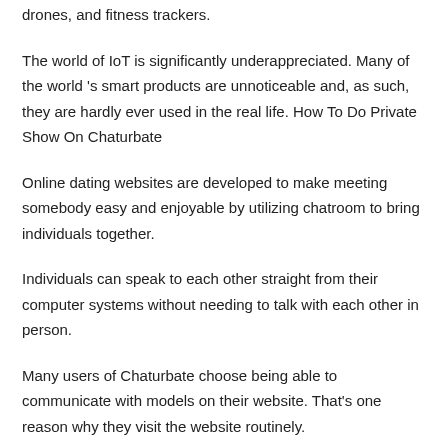drones, and fitness trackers.
The world of IoT is significantly underappreciated. Many of the world 's smart products are unnoticeable and, as such, they are hardly ever used in the real life. How To Do Private Show On Chaturbate
Online dating websites are developed to make meeting somebody easy and enjoyable by utilizing chatroom to bring individuals together.
Individuals can speak to each other straight from their computer systems without needing to talk with each other in person.
Many users of Chaturbate choose being able to communicate with models on their website. That’s one reason why they visit the website routinely.